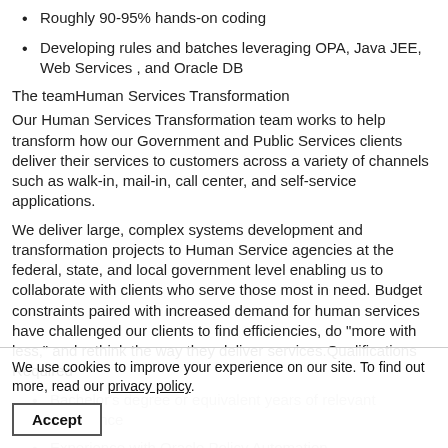Roughly 90-95% hands-on coding
Developing rules and batches leveraging OPA, Java JEE, Web Services , and Oracle DB
The teamHuman Services Transformation
Our Human Services Transformation team works to help transform how our Government and Public Services clients deliver their services to customers across a variety of channels such as walk-in, mail-in, call center, and self-service applications.
We deliver large, complex systems development and transformation projects to Human Service agencies at the federal, state, and local government level enabling us to collaborate with clients who serve those most in need. Budget constraints paired with increased demand for human services have challenged our clients to find efficiencies, do "more with less," and rethink the way they deliver services.Qualifications Required
Bachelor's degree or equivalent years of relevant experience
Experience with Oracle Policy Automation
Experience with Oracle SQL Development and Java EE/EJB
Experience with J2EE Framework components such as Servlets, JSP, EJB, JDBC
We use cookies to improve your experience on our site. To find out more, read our privacy policy.